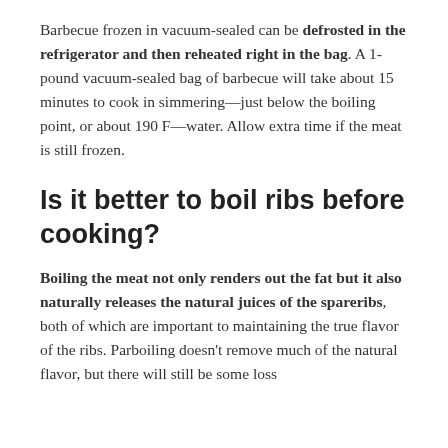Barbecue frozen in vacuum-sealed can be defrosted in the refrigerator and then reheated right in the bag. A 1-pound vacuum-sealed bag of barbecue will take about 15 minutes to cook in simmering—just below the boiling point, or about 190 F—water. Allow extra time if the meat is still frozen.
Is it better to boil ribs before cooking?
Boiling the meat not only renders out the fat but it also naturally releases the natural juices of the spareribs, both of which are important to maintaining the true flavor of the ribs. Parboiling doesn't remove much of the natural flavor, but there will still be some loss